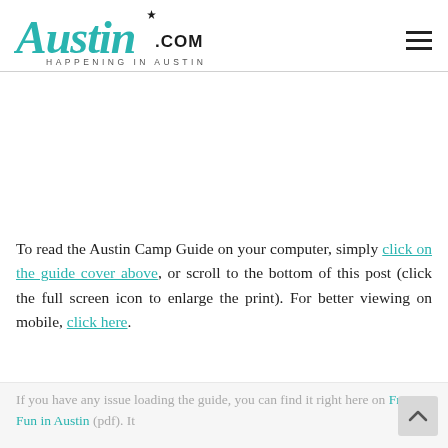[Figure (logo): Austin.com logo with teal cursive 'Austin' text, '.COM' in dark sans-serif, and tagline 'HAPPENING IN AUSTIN' below]
To read the Austin Camp Guide on your computer, simply click on the guide cover above, or scroll to the bottom of this post (click the full screen icon to enlarge the print). For better viewing on mobile, click here.
If you have any issue loading the guide, you can find it right here on Free Fun in Austin (pdf). It